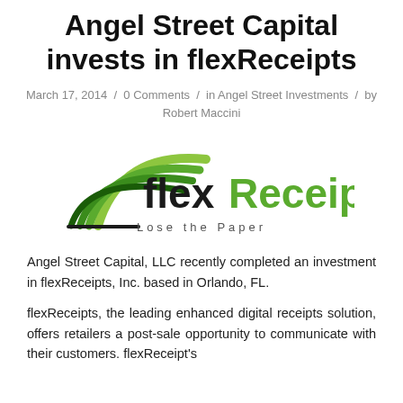Angel Street Capital invests in flexReceipts
March 17, 2014 / 0 Comments / in Angel Street Investments / by Robert Maccini
[Figure (logo): flexReceipts logo with green swoosh graphic and tagline 'Lose the Paper']
Angel Street Capital, LLC recently completed an investment in flexReceipts, Inc. based in Orlando, FL.
flexReceipts, the leading enhanced digital receipts solution, offers retailers a post-sale opportunity to communicate with their customers. flexReceipt's